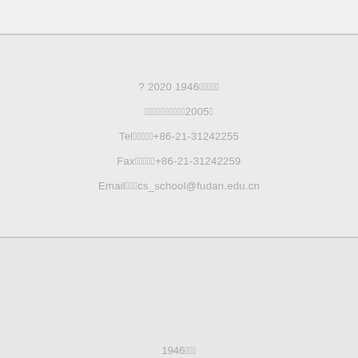? 2020 1946年建校历史
计算机科学学院建院于2005年
Tel：联系电话：+86-21-31242255
Fax：传真：+86-21-31242259
Email：邮箕：cs_school@fudan.edu.cn
1946年建校